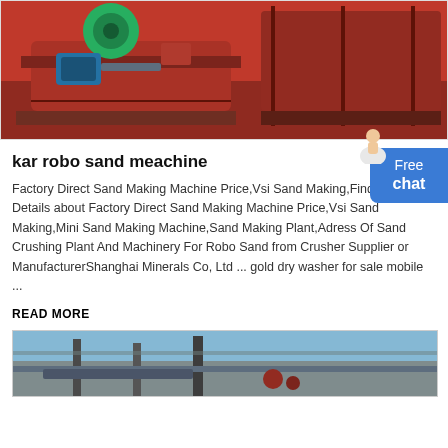[Figure (photo): Orange industrial sand making machine / crusher equipment photographed in a factory setting]
kar robo sand meachine
Factory Direct Sand Making Machine Price,Vsi Sand Making,Find Complete Details about Factory Direct Sand Making Machine Price,Vsi Sand Making,Mini Sand Making Machine,Sand Making Plant,Adress Of Sand Crushing Plant And Machinery For Robo Sand from Crusher Supplier or ManufacturerShanghai Minerals Co, Ltd ... gold dry washer for sale mobile ...
READ MORE
[Figure (photo): Partially visible industrial conveyor or processing machinery with metallic components against a blue sky]